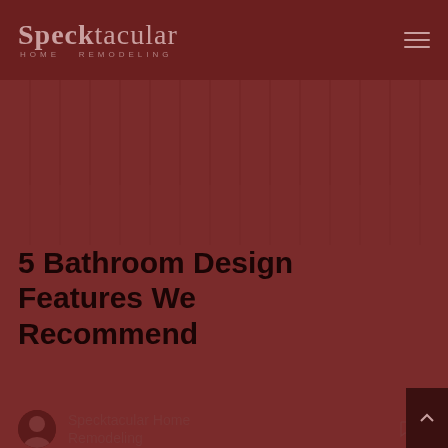Specktacular HOME REMODELING
[Figure (photo): Dark brownish hero image area with vertical line pattern overlay, background for blog post header]
5 Bathroom Design Features We Recommend
Specktacular Home Remodeling
0